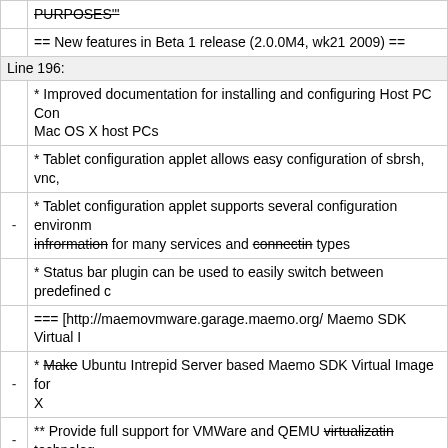|  | PURPOSES'" |
|  | == New features in Beta 1 release (2.0.0M4, wk21 2009) == |
| Line 196: |  |
|  | * Improved documentation for installing and configuring Host PC Con... Mac OS X host PCs |
|  | * Tablet configuration applet allows easy configuration of sbrsh, vnc, |
| - | * Tablet configuration applet supports several configuration environm... infrormation for many services and connectin types |
|  | * Status bar plugin can be used to easily switch between predefined c... |
|  | === [http://maemovmware.garage.maemo.org/ Maemo SDK Virtual I... |
| - | * Make Ubuntu Intrepid Server based Maemo SDK Virtual Image for... X |
| - | ** Provide full support for VMWare and QEMU virtualizatin technolog... |
|  | ** Provide do-it-yourself support for VirtualBox |
|  | ** Server image includes just basic Ubuntu Intrepid Server and Host... prefonfigured and Maemo Diablo and Fremantle Development Enviro... Eclipse installation wizard automatically |